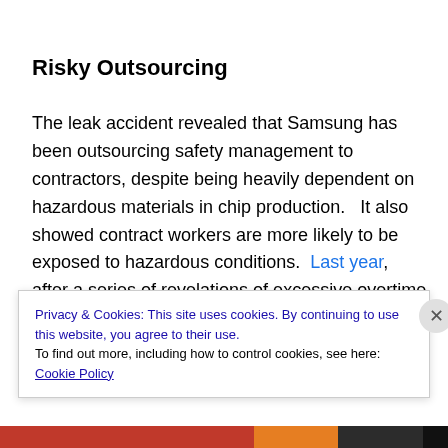Risky Outsourcing
The leak accident revealed that Samsung has been outsourcing safety management to contractors, despite being heavily dependent on hazardous materials in chip production.   It also showed contract workers are more likely to be exposed to hazardous conditions.  Last year, after a series of revelations of excessive overtime and irregularities at its Chinese contractors, Samsung promised to improve working conditions across its supply
Privacy & Cookies: This site uses cookies. By continuing to use this website, you agree to their use.
To find out more, including how to control cookies, see here: Cookie Policy
Close and accept